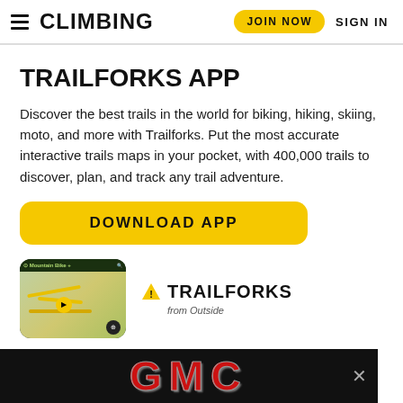CLIMBING | JOIN NOW | SIGN IN
TRAILFORKS APP
Discover the best trails in the world for biking, hiking, skiing, moto, and more with Trailforks. Put the most accurate interactive trails maps in your pocket, with 400,000 trails to discover, plan, and track any trail adventure.
DOWNLOAD APP
[Figure (screenshot): Trailforks app screenshot on a smartphone showing trail map, alongside the Trailforks from Outside logo]
[Figure (logo): GMC advertisement banner at bottom of page]